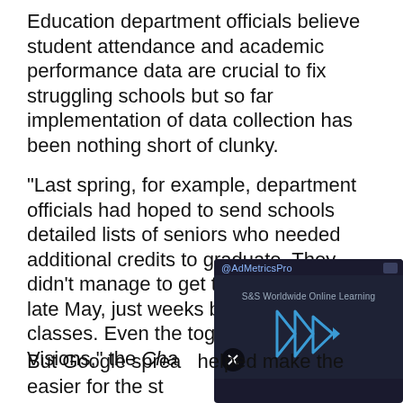Education department officials believe student attendance and academic performance data are crucial to fix struggling schools but so far implementation of data collection has been nothing short of clunky.
"Last spring, for example, department officials had hoped to send schools detailed lists of seniors who needed additional credits to graduate. They didn't manage to get those lists out until late May, just weeks before the end of classes. Even the[...] together with las[...] Visions," the Cha[...]
[Figure (screenshot): An ad overlay (AdMetricsPro / S&S Worldwide Online Learning) with a dark blue background, play button icon made of triangles, mute button, and close button.]
But Google sprea[...] helped make the[...] easier for the st[...]